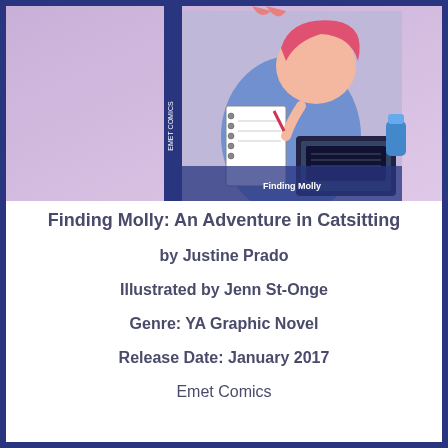[Figure (illustration): Book cover of 'Finding Molly: An Adventure in Catsitting' showing an animated illustration of a young woman sitting at a desk with a laptop, notebook, and accessories, with a blue and purple color scheme. The book spine is visible on the left side.]
Finding Molly: An Adventure in Catsitting
by Justine Prado
Illustrated by Jenn St-Onge
Genre: YA Graphic Novel
Release Date: January 2017
Emet Comics